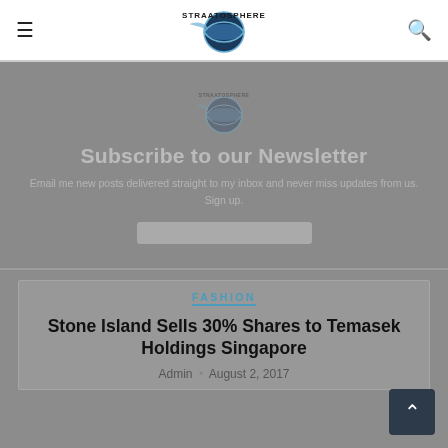STRAATOSPHERE (navigation header with menu and search icons)
[Figure (logo): Straatosphere globe logo with text, faded newsletter overlay with title 'Subscribe to our Newsletter' and subtitle text and input field]
FASHION
Stone Island Sells 30% Shares to Temasek Holdings Singapore
Admin • August 2, 2017